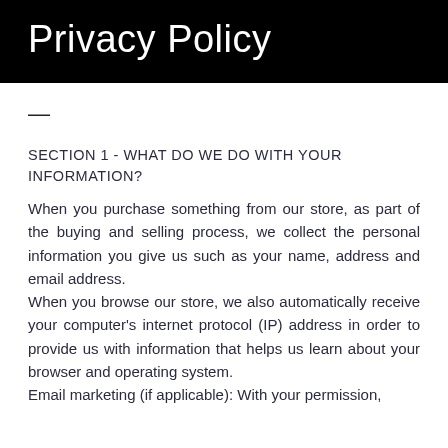Privacy Policy
SECTION 1 - WHAT DO WE DO WITH YOUR INFORMATION?
When you purchase something from our store, as part of the buying and selling process, we collect the personal information you give us such as your name, address and email address.
When you browse our store, we also automatically receive your computer's internet protocol (IP) address in order to provide us with information that helps us learn about your browser and operating system.
Email marketing (if applicable): With your permission,